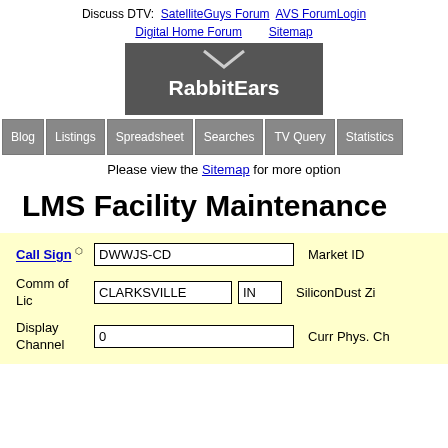Discuss DTV:  SatelliteGuys Forum  AVS ForumLogin  Sitemap  Digital Home Forum
[Figure (logo): RabbitEars logo with checkmark on dark grey background]
[Figure (infographic): Navigation buttons: Blog, Listings, Spreadsheet, Searches, TV Query, Statistics]
Please view the Sitemap for more options
LMS Facility Maintenance
| Call Sign | DWWJS-CD | Market ID |
| Comm of Lic | CLARKSVILLE  IN | SiliconDust Zi |
| Display Channel | 0 | Curr Phys. Ch |